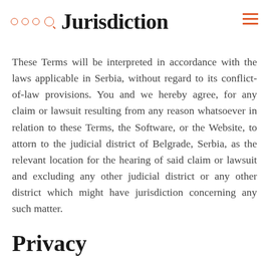Jurisdiction
These Terms will be interpreted in accordance with the laws applicable in Serbia, without regard to its conflict-of-law provisions. You and we hereby agree, for any claim or lawsuit resulting from any reason whatsoever in relation to these Terms, the Software, or the Website, to attorn to the judicial district of Belgrade, Serbia, as the relevant location for the hearing of said claim or lawsuit and excluding any other judicial district or any other district which might have jurisdiction concerning any such matter.
Privacy